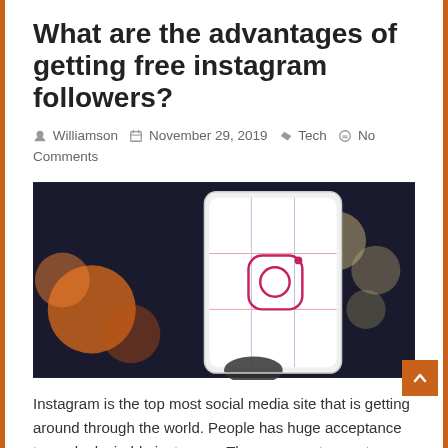What are the advantages of getting free instagram followers?
Williamson  November 29, 2019  Tech  No Comments
[Figure (photo): A smartphone displaying the Instagram app icon on its screen, shown against a dark blurred background with bokeh lights.]
Instagram is the top most social media site that is getting around through the world. People has huge acceptance towards desirable instances. The manners to greet someone are taken for …